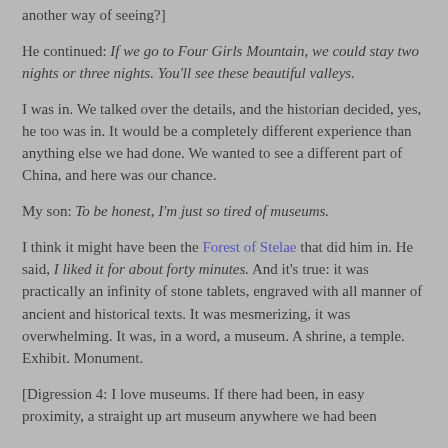another way of seeing?]
He continued: If we go to Four Girls Mountain, we could stay two nights or three nights. You'll see these beautiful valleys.
I was in. We talked over the details, and the historian decided, yes, he too was in. It would be a completely different experience than anything else we had done. We wanted to see a different part of China, and here was our chance.
My son: To be honest, I'm just so tired of museums.
I think it might have been the Forest of Stelae that did him in. He said, I liked it for about forty minutes. And it's true: it was practically an infinity of stone tablets, engraved with all manner of ancient and historical texts. It was mesmerizing, it was overwhelming. It was, in a word, a museum. A shrine, a temple. Exhibit. Monument.
[Digression 4: I love museums. If there had been, in easy proximity, a straight up art museum anywhere we had been